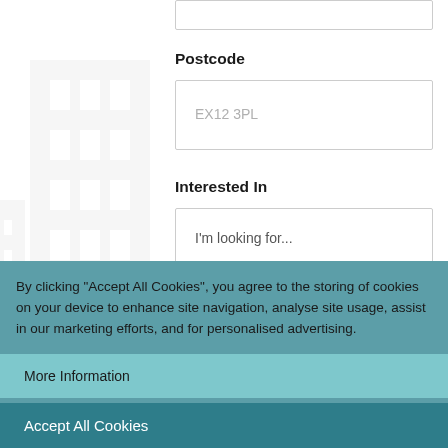Postcode
EX12 3PL
Interested In
I'm looking for...
By clicking "Accept All Cookies", you agree to the storing of cookies on your device to enhance site navigation, analyse site usage, assist in our marketing efforts, and for personalised advertising.
More Information
Accept All Cookies